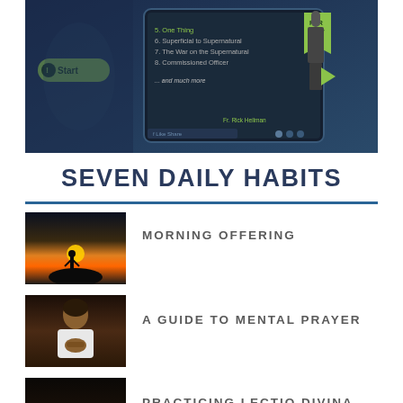[Figure (screenshot): App screenshot showing a tablet interface with Fr. Rick Heilman and a Start button, listing spiritual topics including 'One Thing', 'Superficial to Supernatural', 'The War on the Supernatural', 'Commissioned Officer', '…and much more'. Labeled 'NEW FOR' with a green badge.]
SEVEN DAILY HABITS
[Figure (photo): Silhouette of a person standing on a hilltop at sunrise]
MORNING OFFERING
[Figure (photo): Man in white shirt with hands clasped in prayer, dark background]
A GUIDE TO MENTAL PRAYER
[Figure (photo): Open book with candle in dark setting, hands resting on book]
PRACTICING LECTIO DIVINA